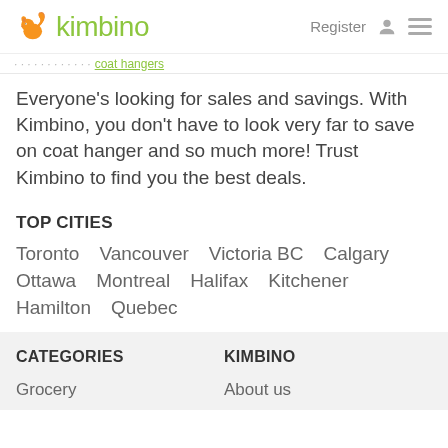kimbino | Register
Everyone's looking for sales and savings. With Kimbino, you don't have to look very far to save on coat hanger and so much more! Trust Kimbino to find you the best deals.
TOP CITIES
Toronto
Vancouver
Victoria BC
Calgary
Ottawa
Montreal
Halifax
Kitchener
Hamilton
Quebec
CATEGORIES
KIMBINO
Grocery
About us